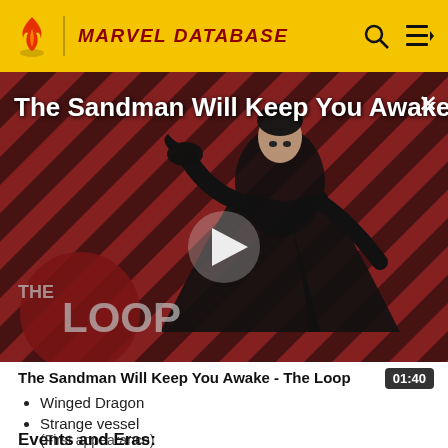MARVEL DATABASE
[Figure (screenshot): Video thumbnail for 'The Sandman Will Keep You Awake - The Loop' showing a figure in black robes against a red diagonal striped background with THE LOOP watermark and a play button in the center.]
The Sandman Will Keep You Awake - The Loop
01:40
Winged Dragon
Strange vessel
(First appearance)
Events and Eras: